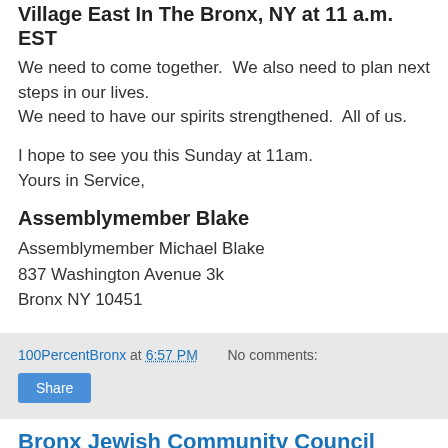Village East In The Bronx, NY at 11 a.m. EST
We need to come together.  We also need to plan next steps in our lives.
We need to have our spirits strengthened.  All of us.
I hope to see you this Sunday at 11am.
Yours in Service,
Assemblymember Blake
Assemblymember Michael Blake
837 Washington Avenue 3k
Bronx NY 10451
100PercentBronx at 6:57 PM   No comments:
Bronx Jewish Community Council